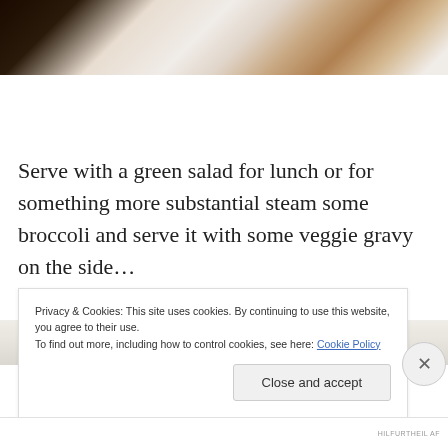[Figure (photo): Close-up photo of food on a white plate, with dark background]
Serve with a green salad for lunch or for something more substantial steam some broccoli and serve it with some veggie gravy on the side…
[Figure (photo): Partial view of a dish on a plate, with green element visible at top]
Privacy & Cookies: This site uses cookies. By continuing to use this website, you agree to their use.
To find out more, including how to control cookies, see here: Cookie Policy
Close and accept